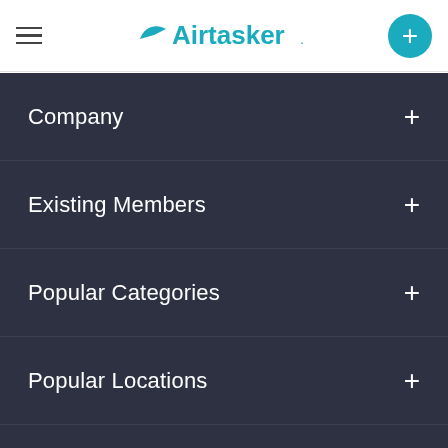Airtasker navigation header with hamburger menu, Airtasker logo, and plus button
Company
Existing Members
Popular Categories
Popular Locations